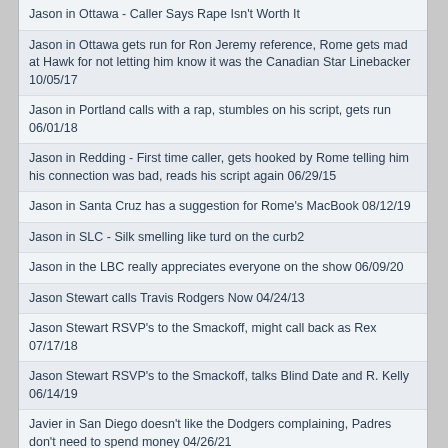Jason in Ottawa - Caller Says Rape Isn't Worth It
Jason in Ottawa gets run for Ron Jeremy reference, Rome gets mad at Hawk for not letting him know it was the Canadian Star Linebacker 10/05/17
Jason in Portland calls with a rap, stumbles on his script, gets run 06/01/18
Jason in Redding - First time caller, gets hooked by Rome telling him his connection was bad, reads his script again 06/29/15
Jason in Santa Cruz has a suggestion for Rome's MacBook 08/12/19
Jason in SLC - Silk smelling like turd on the curb2
Jason in the LBC really appreciates everyone on the show 06/09/20
Jason Stewart calls Travis Rodgers Now 04/24/13
Jason Stewart RSVP's to the Smackoff, might call back as Rex 07/17/18
Jason Stewart RSVP's to the Smackoff, talks Blind Date and R. Kelly 06/14/19
Javier in San Diego doesn't like the Dodgers complaining, Padres don't need to spend money 04/26/21
Jay from Okinawa 01/20/06
Jay in Buffalo defends his city, responds to CJ in the Bay 05/28/21
Jay in Florida doesn't think Jeff in Richmonds calls have progressed, talks NBA Finals, chased out by sharks 06/08/18
Jay in Florida takes a run at Mark in Hollywood, run for rambling 06/25/18
Jay in Houston wants to gloss Kyle in Green Bay 'Banana Nut Up in the Tailpipe Man' 09/27/19
Jay in LA on the NBA Negotiations 11/03/11